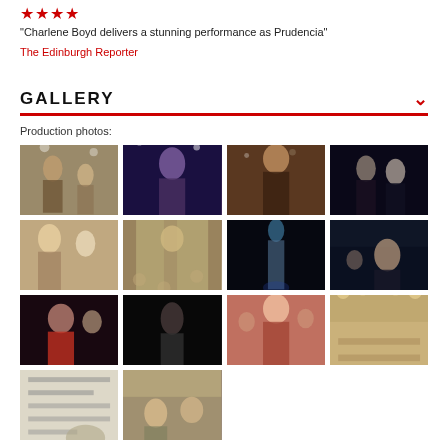★★★★
"Charlene Boyd delivers a stunning performance as Prudencia"
The Edinburgh Reporter
GALLERY
Production photos:
[Figure (photo): Gallery of 14 production photos showing theatrical performance scenes with actors on stage and in ornate venues]
[Figure (photo): Row 1: Four production photos - performers in a banquet hall with confetti, woman in dark dress at party, performer throwing confetti, couple in dark dramatic scene]
[Figure (photo): Row 2: Four production photos - performers seated at tables, audience in columned hall, dancer in spotlight on black stage, woman performing in dark venue]
[Figure (photo): Row 3: Four production photos - man in red jacket seated, solo figure in black studio, woman with arms outstretched among crowd, wide shot of grand ballroom]
[Figure (photo): Row 4 partial: Two production photos - papers/documents close-up, performers in indoor venue]